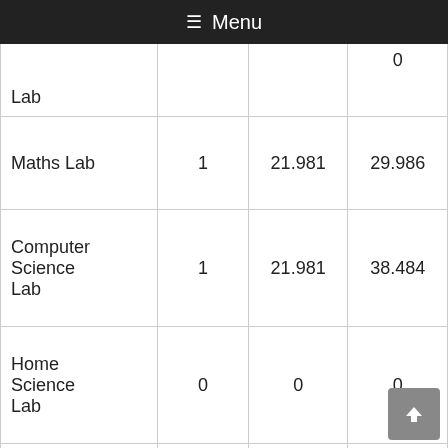≡ Menu
| ...gy Lab |  |  | 0 |
| Maths Lab | 1 | 21.981 | 29.986 |
| Computer Science Lab | 1 | 21.981 | 38.484 |
| Home Science Lab | 0 | 0 | 0 |
| Library | 1 | 21.981 | 29.986 |
| Other Rooms | 02 | 40.814 | 21.227 |